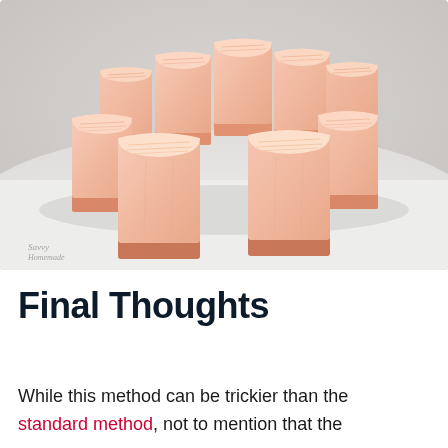[Figure (photo): Multiple bars of pink/salmon-colored handmade soap arranged in a circular pattern on a white surface, viewed from slightly above. The soaps have textured tops with a rough, natural appearance. A watermark in the bottom left reads 'Savvy Homemade'.]
Final Thoughts
While this method can be trickier than the standard method, not to mention that the